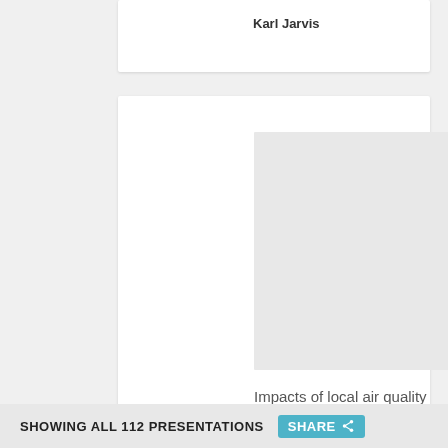Karl Jarvis
[Figure (other): Gray placeholder image for a presentation thumbnail]
Impacts of local air quality on trees
Douglas Lynch
[Figure (other): Gray placeholder image for a presentation thumbnail]
SHOWING ALL 112 PRESENTATIONS  SHARE